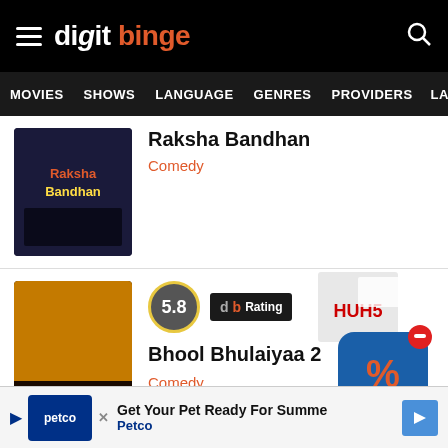[Figure (screenshot): Digit Binge website header with logo and hamburger menu on black background]
digit binge
MOVIES   SHOWS   LANGUAGE   GENRES   PROVIDERS   LATE
Raksha Bandhan
Comedy
5.8
db Rating
Bhool Bhulaiyaa 2
Comedy
8.0
db Rating
[Figure (screenshot): Advertisement overlay showing a discount/coupon app icon with box and percentage symbol]
X
Get Your Pet Ready For Summe
Petco